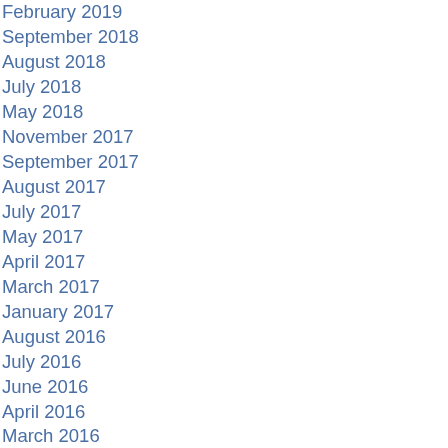February 2019
September 2018
August 2018
July 2018
May 2018
November 2017
September 2017
August 2017
July 2017
May 2017
April 2017
March 2017
January 2017
August 2016
July 2016
June 2016
April 2016
March 2016
February 2016
January 2016
December 2015
November 2015